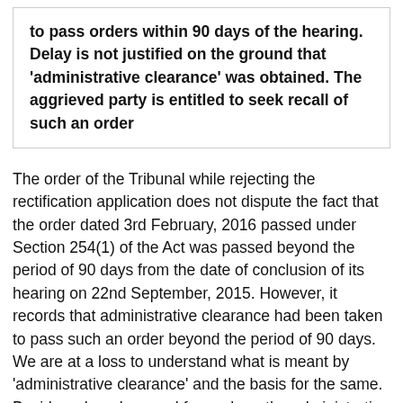to pass orders within 90 days of the hearing. Delay is not justified on the ground that 'administrative clearance' was obtained. The aggrieved party is entitled to seek recall of such an order
The order of the Tribunal while rejecting the rectification application does not dispute the fact that the order dated 3rd February, 2016 passed under Section 254(1) of the Act was passed beyond the period of 90 days from the date of conclusion of its hearing on 22nd September, 2015. However, it records that administrative clearance had been taken to pass such an order beyond the period of 90 days. We are at a loss to understand what is meant by 'administrative clearance' and the basis for the same. Besides when, how and from whom the administrative clearance was